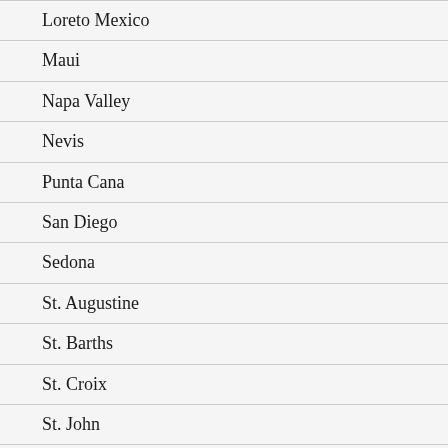Loreto Mexico
Maui
Napa Valley
Nevis
Punta Cana
San Diego
Sedona
St. Augustine
St. Barths
St. Croix
St. John
St. Thomas
Trinidad